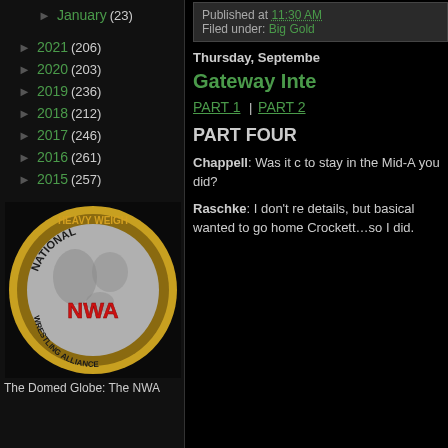► January (23)
► 2021 (206)
► 2020 (203)
► 2019 (236)
► 2018 (212)
► 2017 (246)
► 2016 (261)
► 2015 (257)
[Figure (photo): The Domed Globe: The NWA championship belt medallion showing world globe with NWA Wrestling Alliance text]
The Domed Globe: The NWA
Published at 11:30 AM
Filed under: Big Gold
Thursday, September
Gateway Inte
PART 1  |  PART 2
PART FOUR
Chappell: Was it c to stay in the Mid-A you did?
Raschke: I don't re details, but basical wanted to go home Crockett…so I did.